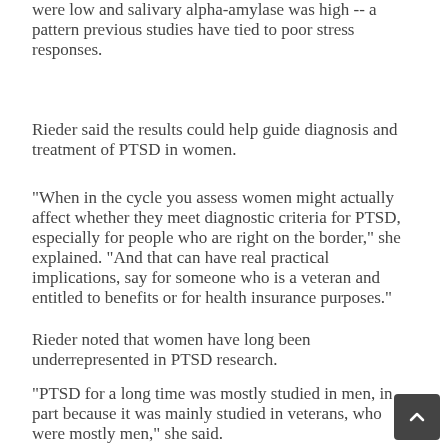were low and salivary alpha-amylase was high -- a pattern previous studies have tied to poor stress responses.
Rieder said the results could help guide diagnosis and treatment of PTSD in women.
"When in the cycle you assess women might actually affect whether they meet diagnostic criteria for PTSD, especially for people who are right on the border," she explained. "And that can have real practical implications, say for someone who is a veteran and entitled to benefits or for health insurance purposes."
Rieder noted that women have long been underrepresented in PTSD research.
"PTSD for a long time was mostly studied in men, in part because it was mainly studied in veterans, who were mostly men," she said.